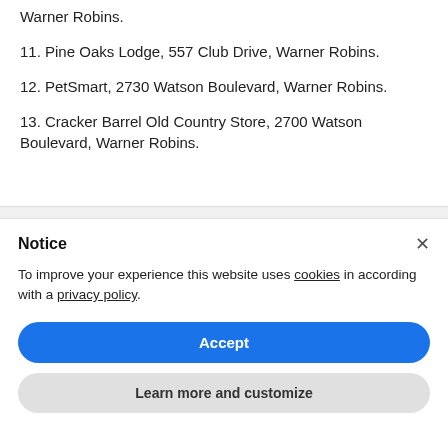10. Suburban Extended Stay, 2727 Watson Boulevard, Warner Robins.
11. Pine Oaks Lodge, 557 Club Drive, Warner Robins.
12. PetSmart, 2730 Watson Boulevard, Warner Robins.
13. Cracker Barrel Old Country Store, 2700 Watson Boulevard, Warner Robins.
Notice
To improve your experience this website uses cookies in according with a privacy policy.
Accept
Learn more and customize